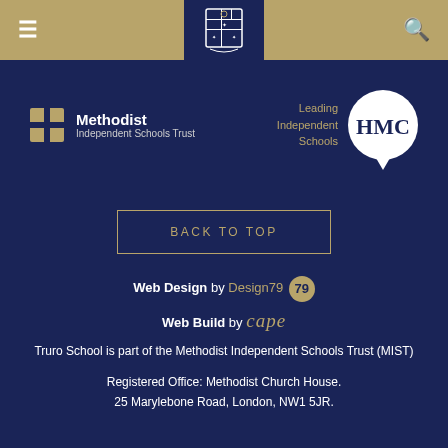Navigation header with hamburger menu, school crest, and search icon
[Figure (logo): Methodist Independent Schools Trust logo with cross icon]
[Figure (logo): HMC - Leading Independent Schools speech bubble logo]
BACK TO TOP
Web Design by Design79
Web Build by cape
Truro School is part of the Methodist Independent Schools Trust (MIST)
Registered Office: Methodist Church House. 25 Marylebone Road, London, NW1 5JR.